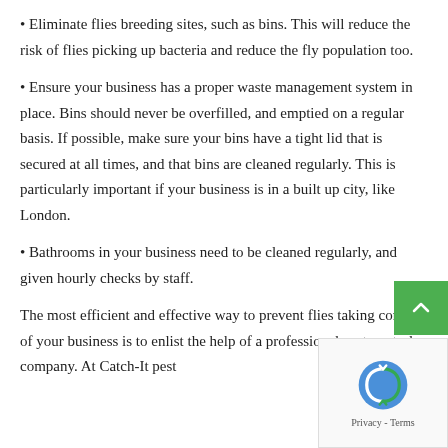• Eliminate flies breeding sites, such as bins. This will reduce the risk of flies picking up bacteria and reduce the fly population too.
• Ensure your business has a proper waste management system in place. Bins should never be overfilled, and emptied on a regular basis. If possible, make sure your bins have a tight lid that is secured at all times, and that bins are cleaned regularly. This is particularly important if your business is in a built up city, like London.
• Bathrooms in your business need to be cleaned regularly, and given hourly checks by staff.
The most efficient and effective way to prevent flies taking control of your business is to enlist the help of a professional pest control company. At Catch-It pest control, we offer a comprehensive service and solution...